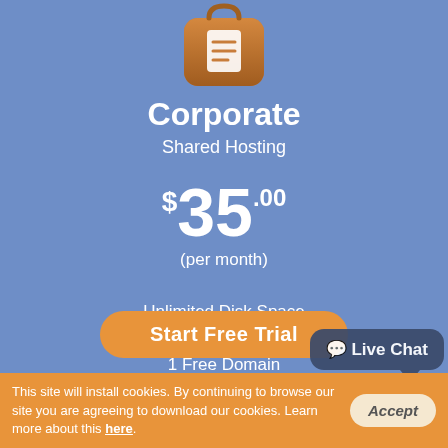[Figure (illustration): Orange/brown briefcase icon with white document symbol, rounded square shape]
Corporate
Shared Hosting
$35.00
(per month)
Unlimited Disk Space
Unlimited Monthly Traffic
1 Free Domain
Unlimited Hosted Domain(s)
Unlimited E-mail Accounts
30-day free trial
Full plan details
Start Free Trial
[Figure (infographic): Live Chat speech bubble button]
This site will install cookies. By continuing to browse our site you are agreeing to download our cookies. Learn more about this here.